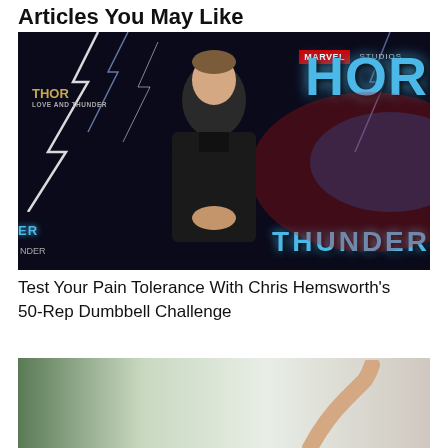Articles You May Like
[Figure (photo): Chris Hemsworth at a Marvel Studios Thor: Love and Thunder premiere event, standing in front of a Thor: Love and Thunder backdrop with lightning effects. He is wearing a black suit.]
Test Your Pain Tolerance With Chris Hemsworth’s 50-Rep Dumbbell Challenge
[Figure (photo): Person raising their arm against a light background, partially visible at bottom of page.]